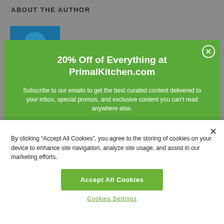ABOUT THE AUTHOR
[Figure (photo): Author photo placeholder — blue rectangular image]
20% Off of Everything at PrimalKitchen.com
Subscribe to our emails to get the best curated content delivered to your inbox, special promos, and exclusive content you can't read anywhere else.
By clicking "Accept All Cookies", you agree to the storing of cookies on your device to enhance site navigation, analyze site usage, and assist in our marketing efforts.
Accept All Cookies
Cookies Settings